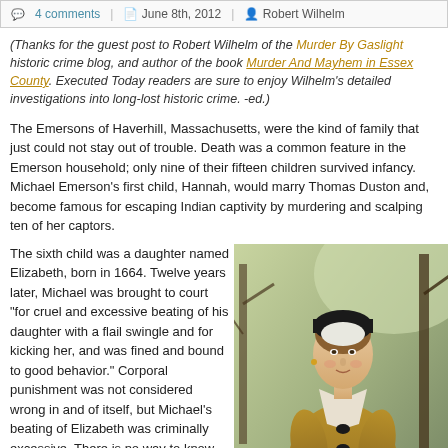4 comments | June 8th, 2012 | Robert Wilhelm
(Thanks for the guest post to Robert Wilhelm of the Murder By Gaslight historic crime blog, and author of the book Murder And Mayhem in Essex County. Executed Today readers are sure to enjoy Wilhelm's detailed investigations into long-lost historic crime. -ed.)
The Emersons of Haverhill, Massachusetts, were the kind of family that just could not stay out of trouble. Death was a common feature in the Emerson household; only nine of their fifteen children survived infancy. Michael Emerson's first child, Hannah, would marry Thomas Duston and, become famous for escaping Indian captivity by murdering and scalping ten of her captors.
The sixth child was a daughter named Elizabeth, born in 1664. Twelve years later, Michael was brought to court "for cruel and excessive beating of his daughter with a flail swingle and for kicking her, and was fined and bound to good behavior." Corporal punishment was not considered wrong in and of itself, but Michael's beating of Elizabeth was criminally excessive. There is no way to know why Elizabeth was being punished, but the impression is, that she was a rambunctious, strong-willed
[Figure (illustration): Portrait painting of a colonial-era woman in period dress with a white collar and black bonnet, set against a winter outdoor background with bare trees.]